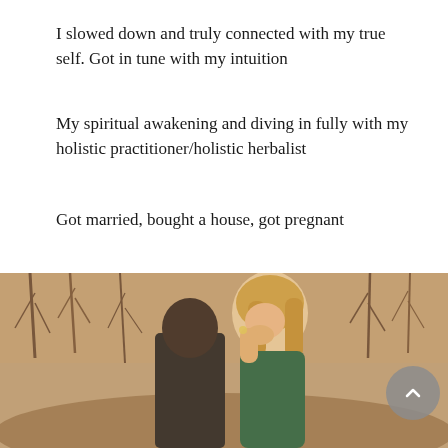I slowed down and truly connected with my true self. Got in tune with my intuition
My spiritual awakening and diving in fully with my holistic practitioner/holistic herbalist
Got married, bought a house, got pregnant
Got engaged to the best man I've ever known
[Figure (photo): A smiling woman with long blonde hair wearing a green top, laughing and covering her mouth with her hand, outdoors with bare trees in the background. A man is seen from behind. Engagement photo style.]